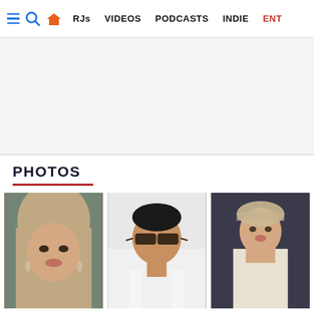≡ 🔍 🏠  RJs   VIDEOS   PODCASTS   INDIE   ENT
[Figure (other): Advertisement/blank area with light gray background]
PHOTOS
[Figure (photo): Three celebrity photos arranged in a grid: a woman with blonde hair on the left, a man wearing sunglasses in the center, and a woman in a white outfit on the right]
[Figure (photo): Three celebrity photos bottom row: woman's face close-up on left, man in white on center, woman in white on right]